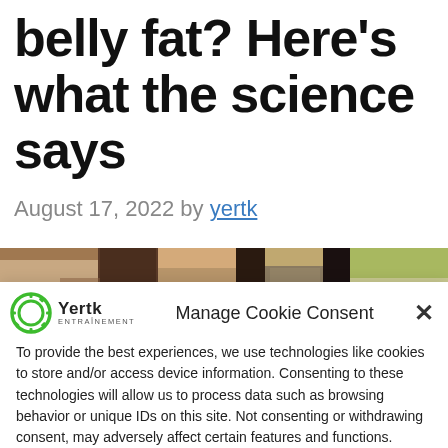belly fat? Here's what the science says
August 17, 2022 by yertk
[Figure (photo): Partial photo strip showing indoor/outdoor scene with wooden structures and foliage]
Manage Cookie Consent
To provide the best experiences, we use technologies like cookies to store and/or access device information. Consenting to these technologies will allow us to process data such as browsing behavior or unique IDs on this site. Not consenting or withdrawing consent, may adversely affect certain features and functions.
Accept